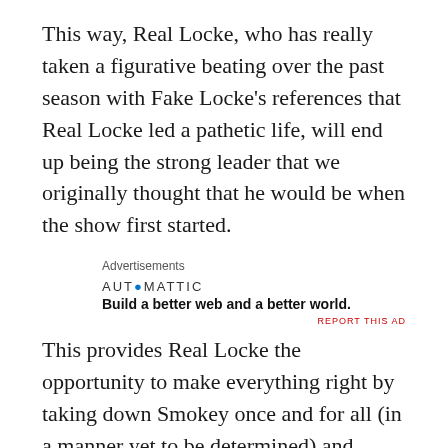This way, Real Locke, who has really taken a figurative beating over the past season with Fake Locke’s references that Real Locke led a pathetic life, will end up being the strong leader that we originally thought that he would be when the show first started.
Advertisements
AUT●MATTIC
Build a better web and a better world.
REPORT THIS AD
This provides Real Locke the opportunity to make everything right by taking down Smokey once and for all (in a manner yet to be determined) and taking his rightful place as the chosen “candidate” to replace Jacob.  What’s my guess as to what his first (and only) act as Jacob’s replacement will be?  Sacrifice himself by